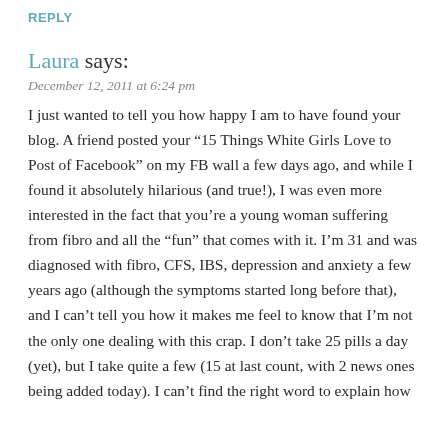REPLY
Laura says:
December 12, 2011 at 6:24 pm
I just wanted to tell you how happy I am to have found your blog. A friend posted your “15 Things White Girls Love to Post of Facebook” on my FB wall a few days ago, and while I found it absolutely hilarious (and true!), I was even more interested in the fact that you’re a young woman suffering from fibro and all the “fun” that comes with it. I’m 31 and was diagnosed with fibro, CFS, IBS, depression and anxiety a few years ago (although the symptoms started long before that), and I can’t tell you how it makes me feel to know that I’m not the only one dealing with this crap. I don’t take 25 pills a day (yet), but I take quite a few (15 at last count, with 2 news ones being added today). I can’t find the right word to explain how